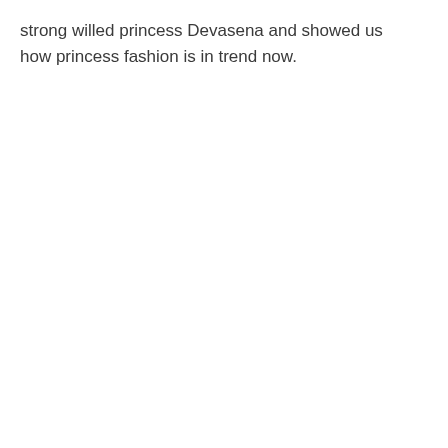strong willed princess Devasena and showed us how princess fashion is in trend now.